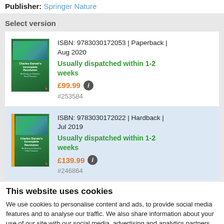Publisher: Springer Nature
Select version
ISBN: 9783030172053 | Paperback | Aug 2020
Usually dispatched within 1-2 weeks
£99.99
#253584
ISBN: 9783030172022 | Hardback | Jul 2019
Usually dispatched within 1-2 weeks
£139.99
#246864
This website uses cookies
We use cookies to personalise content and ads, to provide social media features and to analyse our traffic. We also share information about your use of our site with our social media, advertising and analytics partners who may combine it with other information that you've provided to them or that they